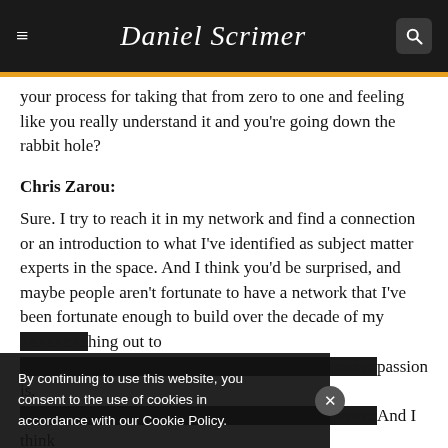Daniel Scrimer
your process for taking that from zero to one and feeling like you really understand it and you're going down the rabbit hole?
Chris Zarou:
Sure. I try to reach it in my network and find a connection or an introduction to what I've identified as subject matter experts in the space. And I think you'd be surprised, and maybe people aren't fortunate to have a network that I've been fortunate enough to build over the decade of my [career], but reaching out to [people who share that] passion is. And I think just being able to sit across from them over Zoom, on a
By continuing to use this website, you consent to the use of cookies in accordance with our Cookie Policy.